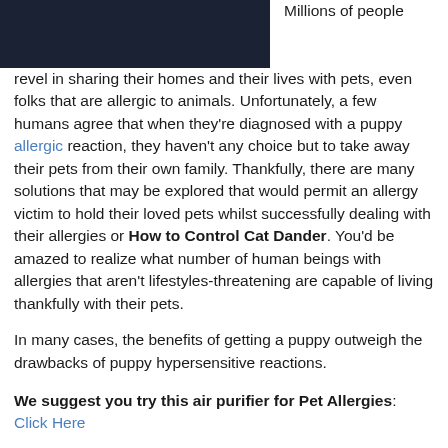[Figure (photo): Dark-colored image in upper left corner, appears to be a photo of a pet or animal in low light]
Millions of people revel in sharing their homes and their lives with pets, even folks that are allergic to animals. Unfortunately, a few humans agree that when they're diagnosed with a puppy allergic reaction, they haven't any choice but to take away their pets from their own family. Thankfully, there are many solutions that may be explored that would permit an allergy victim to hold their loved pets whilst successfully dealing with their allergies or How to Control Cat Dander. You'd be amazed to realize what number of human beings with allergies that aren't lifestyles-threatening are capable of living thankfully with their pets.
In many cases, the benefits of getting a puppy outweigh the drawbacks of puppy hypersensitive reactions.
We suggest you try this air purifier for Pet Allergies: Click Here